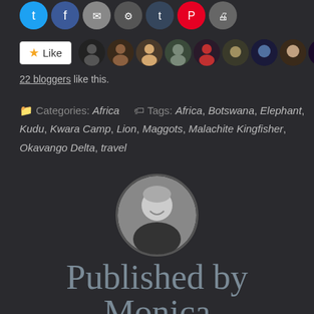[Figure (other): Row of social media sharing icon buttons (Twitter, Facebook, Email, Link, Tumblr, Pinterest, Print) at the top of the page]
[Figure (other): Like button with star icon followed by a row of 10 blogger avatar thumbnails]
22 bloggers like this.
Categories: Africa   Tags: Africa, Botswana, Elephant, Kudu, Kwara Camp, Lion, Maggots, Malachite Kingfisher, Okavango Delta, travel
[Figure (photo): Circular black and white portrait photo of a smiling woman with short blonde hair]
Published by Monica